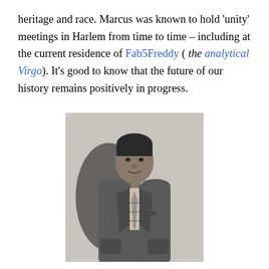heritage and race. Marcus was known to hold 'unity' meetings in Harlem from time to time – including at the current residence of Fab5Freddy ( the analytical Virgo). It's good to know that the future of our history remains positively in progress.
[Figure (photo): Black and white photograph of a man in a suit and tie, standing with hands in pockets, smiling slightly, with a shadow visible on the wall behind him.]